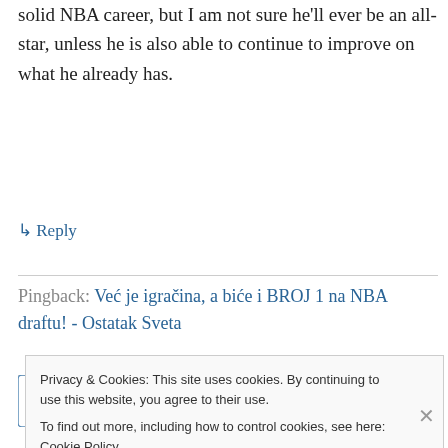solid NBA career, but I am not sure he'll ever be an all-star, unless he is also able to continue to improve on what he already has.
↳ Reply
Pingback: Već je igračina, a biće i BROJ 1 na NBA draftu! - Ostatak Sveta
Mychal on April 28, 2017 at 2:04 pm
Privacy & Cookies: This site uses cookies. By continuing to use this website, you agree to their use. To find out more, including how to control cookies, see here: Cookie Policy
Close and accept